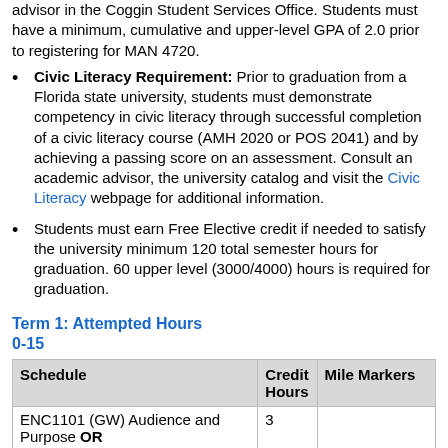advisor in the Coggin Student Services Office. Students must have a minimum, cumulative and upper-level GPA of 2.0 prior to registering for MAN 4720.
Civic Literacy Requirement: Prior to graduation from a Florida state university, students must demonstrate competency in civic literacy through successful completion of a civic literacy course (AMH 2020 or POS 2041) and by achieving a passing score on an assessment. Consult an academic advisor, the university catalog and visit the Civic Literacy webpage for additional information.
Students must earn Free Elective credit if needed to satisfy the university minimum 120 total semester hours for graduation. 60 upper level (3000/4000) hours is required for graduation.
Term 1: Attempted Hours 0-15
| Schedule | Credit Hours | Mile Markers |
| --- | --- | --- |
| ENC1101 (GW) Audience and Purpose OR ENC1143 (GW) Writing | 3 |  |